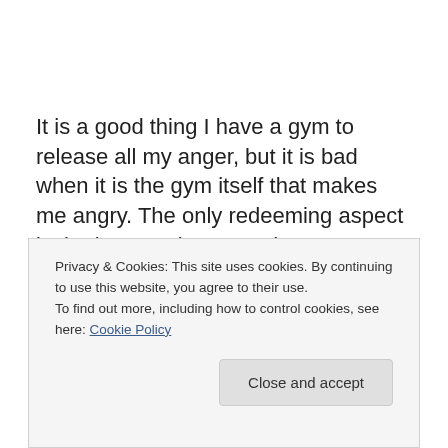It is a good thing I have a gym to release all my anger, but it is bad when it is the gym itself that makes me angry. The only redeeming aspect is the best work out teacher ever, Aviva. If I had the money I would build a whole gym around her.
And isn't there someone that does have that kind of
money who wants to open up a real gym in Jerusalem...
Privacy & Cookies: This site uses cookies. By continuing to use this website, you agree to their use.
To find out more, including how to control cookies, see here: Cookie Policy
[Close and accept]